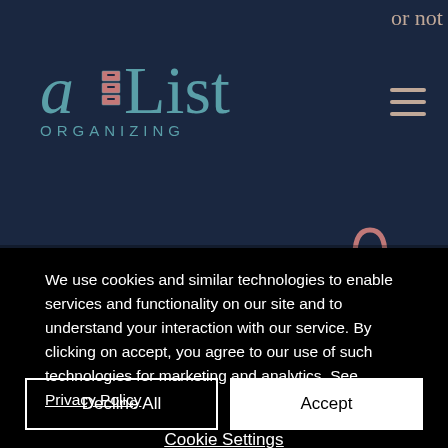[Figure (screenshot): A-List Organizing website screenshot showing navigation header with teal logo, hamburger menu icon, shopping cart bag with 0 items, and partial page content. A cookie consent modal overlays the bottom half of the screen.]
I also love checking out Pinterest and the online world to see how I can re-design an
We use cookies and similar technologies to enable services and functionality on our site and to understand your interaction with our service. By clicking on accept, you agree to our use of such technologies for marketing and analytics. See Privacy Policy
Decline All
Accept
Cookie Settings